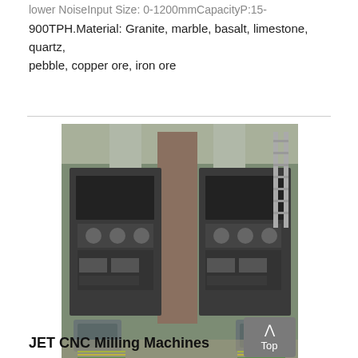lower NoiseInput Size: 0-1200mmCapacity:15-900TPH.Material: Granite, marble, basalt, limestone, quartz, pebble, copper ore, iron ore
[Figure (photo): Industrial machinery photo showing two large heavy crushing/milling machines viewed from above, with electric motors at the bottom, cables, and structural supports. A ladder is visible on the right side. A 'Top' button overlay is in the bottom-right corner.]
JET CNC Milling Machines